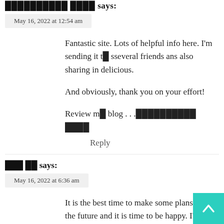██████████ ████ says:
May 16, 2022 at 12:54 am
Fantastic site. Lots of helpful info here. I'm sending it t█ sseveral friends ans also sharing in delicious.

And obviously, thank you on your effort!

Review m█ blog . . .██████████ ████
Reply
███ ██ says:
May 16, 2022 at 6:36 am
It is the best time to make some plans for the future and it is time to be happy. I've learn this post and if I may just I wish recommend you some attention-grabbing things or suggestions.